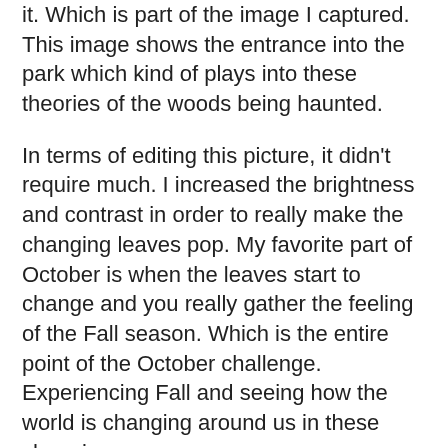it. Which is part of the image I captured. This image shows the entrance into the park which kind of plays into these theories of the woods being haunted.
In terms of editing this picture, it didn't require much. I increased the brightness and contrast in order to really make the changing leaves pop. My favorite part of October is when the leaves start to change and you really gather the feeling of the Fall season. Which is the entire point of the October challenge. Experiencing Fall and seeing how the world is changing around us in these changing seasons.
Now, I'm not a big outdoors person and you definitely won't find me going on a hike anytime soon, but I have a challenge for you. Take an image of the same tree for the rest of the month, put it